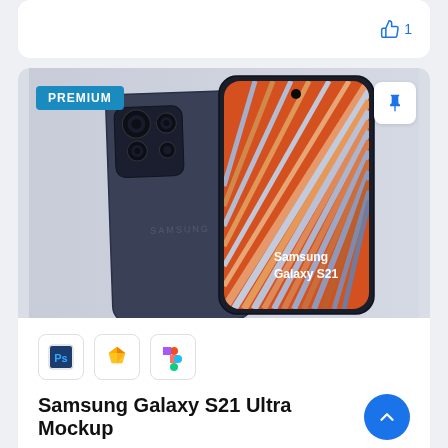[Figure (screenshot): Top partial white card showing a like/thumbs-up icon with count 1]
[Figure (photo): Samsung Galaxy S21 phone mockup showing back and front of phone. Back is dark gray with multi-lens camera, front shows colorful diagonal stripe wallpaper with 'Samsung Galaxy S21' text. PREMIUM badge top-left, pin button top-right.]
[Figure (screenshot): Tool icons row: Photoshop (Ps), Sketch (diamond), Figma (F) icons in rounded boxes]
Samsung Galaxy S21 Ultra Mockup
5
[Figure (screenshot): Bottom partial card showing colorful design/icon elements at bottom of page]